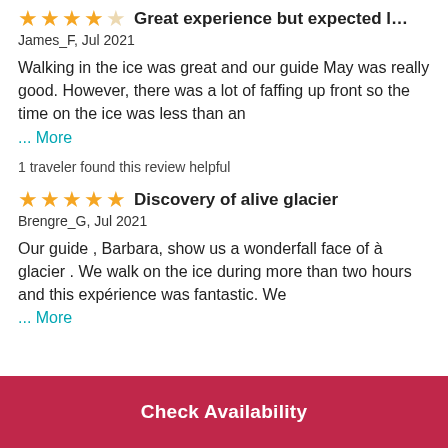Great experience but expected longe...
James_F, Jul 2021
Walking in the ice was great and our guide May was really good. However, there was a lot of faffing up front so the time on the ice was less than an … More
1 traveler found this review helpful
Discovery of alive glacier
Brengre_G, Jul 2021
Our guide , Barbara, show us a wonderfall face of à glacier . We walk on the ice during more than two hours and this expérience was fantastic. We … More
Check Availability